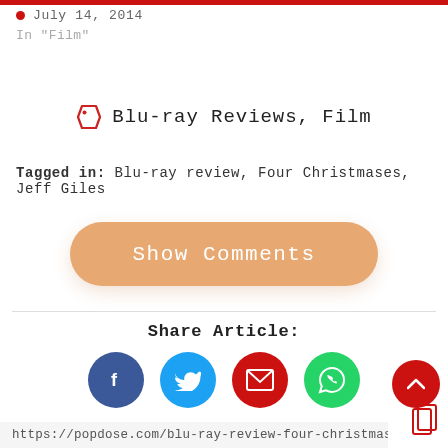July 14, 2014
In "Film"
Blu-ray Reviews, Film
Tagged in: Blu-ray review, Four Christmases, Jeff Giles
Show Comments
Share Article:
[Figure (infographic): Four social share buttons: Facebook (blue circle with f), Twitter (cyan circle with bird), Email (red circle with envelope), WhatsApp (green circle with phone icon)]
https://popdose.com/blu-ray-review-four-christmase